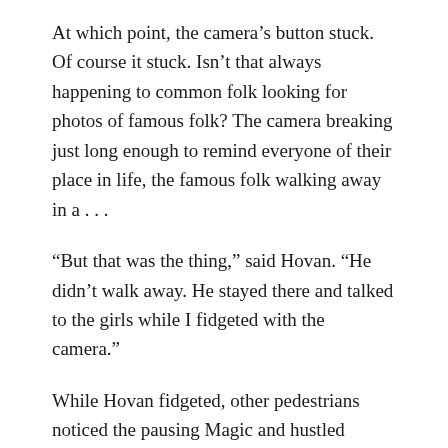At which point, the camera’s button stuck. Of course it stuck. Isn’t that always happening to common folk looking for photos of famous folk? The camera breaking just long enough to remind everyone of their place in life, the famous folk walking away in a . . .
“But that was the thing,” said Hovan. “He didn’t walk away. He stayed there and talked to the girls while I fidgeted with the camera.”
While Hovan fidgeted, other pedestrians noticed the pausing Magic and hustled